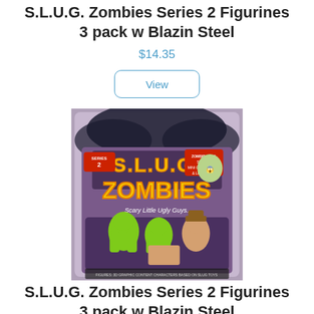S.L.U.G. Zombies Series 2 Figurines 3 pack w Blazin Steel
$14.35
View
[Figure (photo): Product photo of S.L.U.G. Zombies Series 2 Figurines 3-pack with Blazin Steel, showing blister pack packaging with green and tan zombie figurines]
S.L.U.G. Zombies Series 2 Figurines 3 pack w Blazin Steel